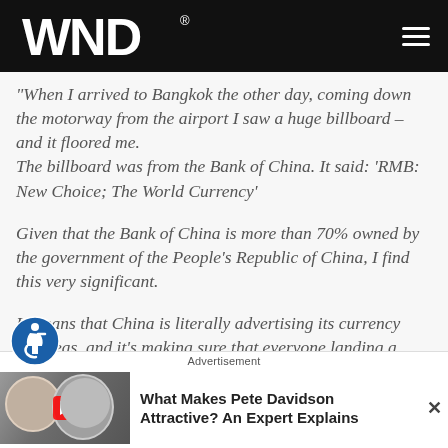WND
"When I arrived to Bangkok the other day, coming down the motorway from the airport I saw a huge billboard – and it floored me.
The billboard was from the Bank of China. It said: 'RMB: New Choice; The World Currency'
Given that the Bank of China is more than 70% owned by the government of the People's Republic of China, I find this very significant.
It means that China is literally advertising its currency overseas, and it's making sure that everyone landing a
Advertisement
What Makes Pete Davidson Attractive? An Expert Explains